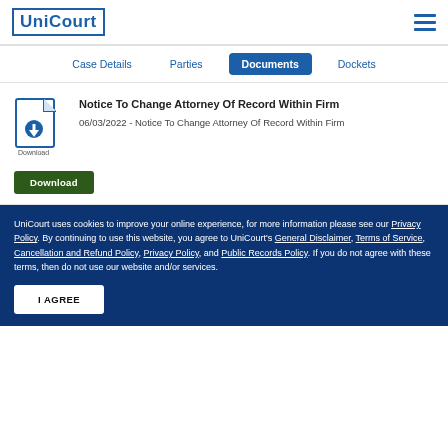UniCourt
Case Details | Parties | Documents | Dockets
Notice To Change Attorney Of Record Within Firm
06/03/2022 - Notice To Change Attorney Of Record Within Firm
Download
UniCourt uses cookies to improve your online experience, for more information please see our Privacy Policy. By continuing to use this website, you agree to UniCourt's General Disclaimer, Terms of Service, Cancellation and Refund Policy, Privacy Policy, and Public Records Policy. If you do not agree with these terms, then do not use our website and/or services.
I AGREE